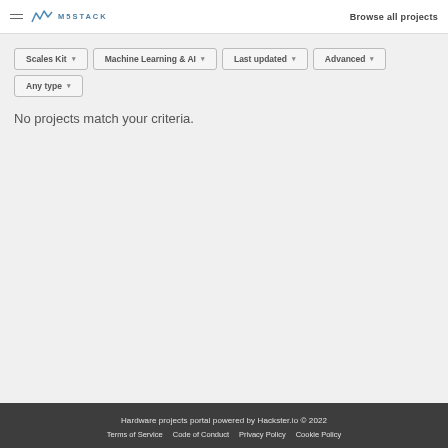Browse all projects
Scales Kit ▾   Machine Learning & AI ▾   Last updated ▾   Advanced ▾   Any type ▾
No projects match your criteria.
Hardware projects portal powered by Hackster.io © 2022   Terms of Service   Code of Conduct   Privacy Policy   Cookie Policy